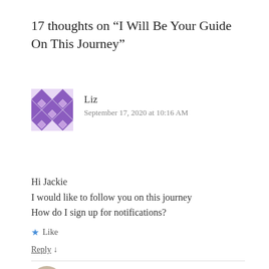17 thoughts on “I Will Be Your Guide On This Journey”
Liz
September 17, 2020 at 10:16 AM
Hi Jackie
I would like to follow you on this journey
How do I sign up for notifications?
★ Like
Reply ↓
ifthesethreadscouldtalk  Post author